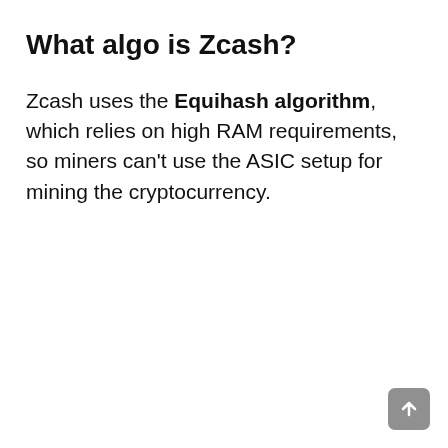What algo is Zcash?
Zcash uses the Equihash algorithm, which relies on high RAM requirements, so miners can't use the ASIC setup for mining the cryptocurrency.